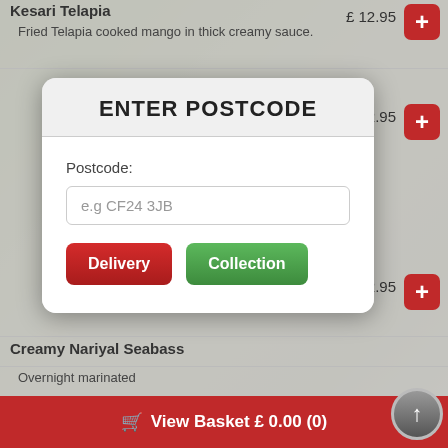Kesari Telapia
Fried Telapia cooked mango in thick creamy sauce.
£ 12.95
£ 12.95
[Figure (screenshot): Enter Postcode modal dialog with postcode input field, Delivery (red) and Collection (green) buttons]
£ 12.95
Creamy Nariyal Seabass
Overnight marinated
View Basket £ 0.00 (0)